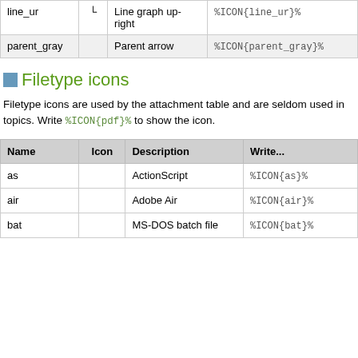| Name | Icon | Description | Write... |
| --- | --- | --- | --- |
| line_ur | ↗ | Line graph up-right | %ICON{line_ur}% |
| parent_gray |  | Parent arrow | %ICON{parent_gray}% |
Filetype icons
Filetype icons are used by the attachment table and are seldom used in topics. Write %ICON{pdf}% to show the icon.
| Name | Icon | Description | Write... |
| --- | --- | --- | --- |
| as |  | ActionScript | %ICON{as}% |
| air |  | Adobe Air | %ICON{air}% |
| bat |  | MS-DOS batch file | %ICON{bat}% |